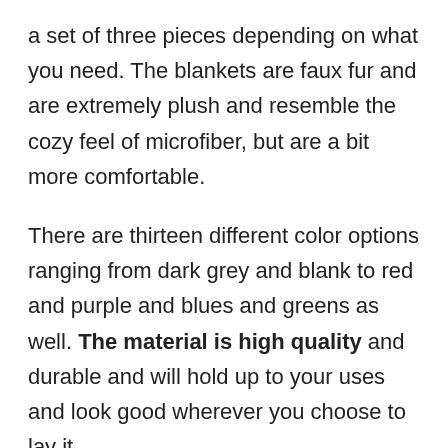a set of three pieces depending on what you need. The blankets are faux fur and are extremely plush and resemble the cozy feel of microfiber, but are a bit more comfortable.
There are thirteen different color options ranging from dark grey and blank to red and purple and blues and greens as well. The material is high quality and durable and will hold up to your uses and look good wherever you choose to lay it.
You can machine wash the blanket on cold and hang it to dry though I do not advise you to wash it often as it may ruin the blanket altogether. These blankets start at about thirty dollars and go up in price from there so they are a little more expensive than the other options. But Chanasya is worth the